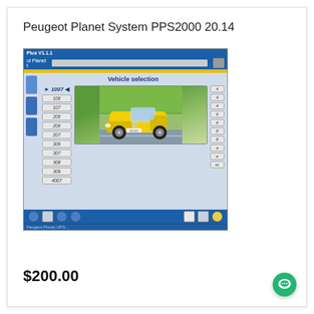Peugeot Planet System PPS2000 20.14
[Figure (screenshot): Screenshot of Peugeot Planet System PPS2000 software showing a Vehicle selection screen with a list of Peugeot models (1007, 106, 107, 205, 206, 207, 306, 307, 308, 309, 4007) on the left, a yellow Peugeot 1007 car image in the center, and partially visible model buttons on the right. The software has a blue title bar, yellow accent bar, and blue bottom toolbar with icons.]
$200.00